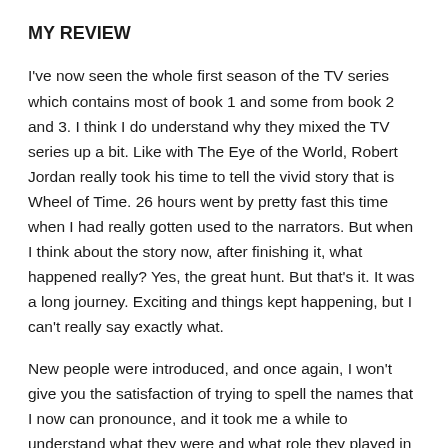MY REVIEW
I've now seen the whole first season of the TV series which contains most of book 1 and some from book 2 and 3. I think I do understand why they mixed the TV series up a bit. Like with The Eye of the World, Robert Jordan really took his time to tell the vivid story that is Wheel of Time. 26 hours went by pretty fast this time when I had really gotten used to the narrators. But when I think about the story now, after finishing it, what happened really? Yes, the great hunt. But that's it. It was a long journey. Exciting and things kept happening, but I can't really say exactly what.
New people were introduced, and once again, I won't give you the satisfaction of trying to spell the names that I now can pronounce, and it took me a while to understand what they were and what role they played in the story.